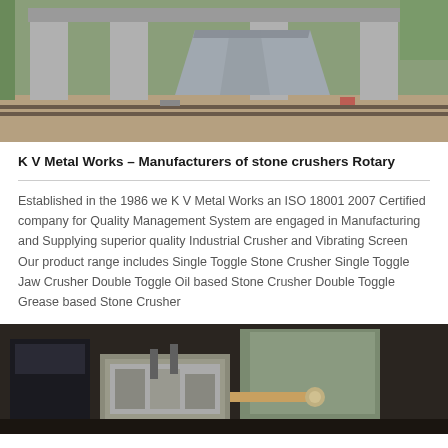[Figure (photo): Outdoor photo showing a large industrial stone crusher structure with concrete pillars and metal components on a construction/quarry site]
K V Metal Works – Manufacturers of stone crushers Rotary
Established in the 1986 we K V Metal Works an ISO 18001 2007 Certified company for Quality Management System are engaged in Manufacturing and Supplying superior quality Industrial Crusher and Vibrating Screen Our product range includes Single Toggle Stone Crusher Single Toggle Jaw Crusher Double Toggle Oil based Stone Crusher Double Toggle Grease based Stone Crusher
[Figure (photo): Indoor photo of industrial machinery including a stone crusher unit with mechanical components visible in a dim workshop or factory setting]